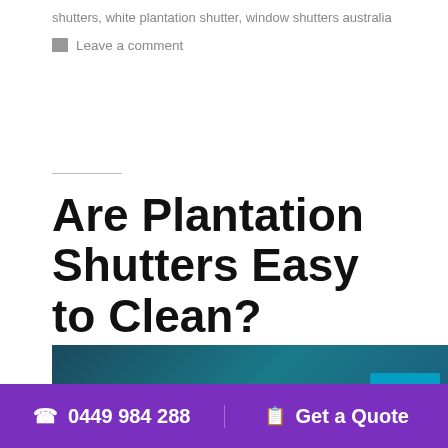shutters, white plantation shutter, window shutters australia
Leave a comment
Are Plantation Shutters Easy to Clean?
[Figure (photo): Dark teal/blue background photo, partially visible, with a blue accent rectangle in the bottom right corner]
0449 984 288  Get a Quote